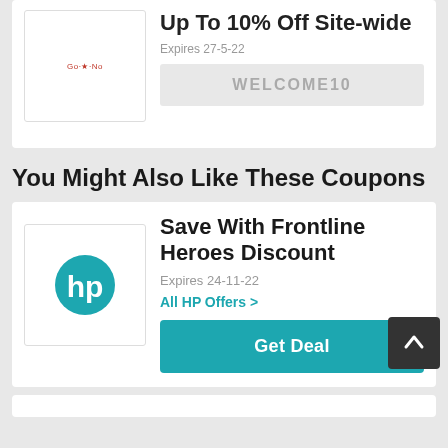Up To 10% Off Site-wide
Expires 27-5-22
WELCOME10
You Might Also Like These Coupons
Save With Frontline Heroes Discount
Expires 24-11-22
All HP Offers >
Get Deal